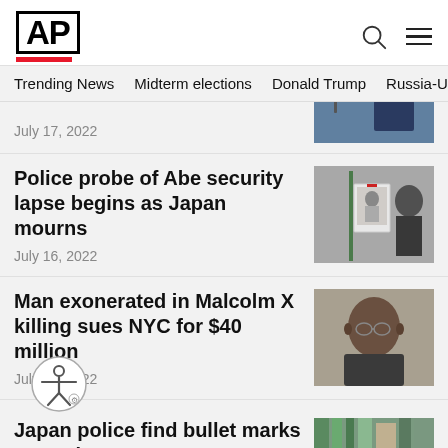AP
Trending News  Midterm elections  Donald Trump  Russia-Ukr
July 17, 2022
Police probe of Abe security lapse begins as Japan mourns
July 16, 2022
Man exonerated in Malcolm X killing sues NYC for $40 million
July 15, 2022
Japan police find bullet marks near Abe